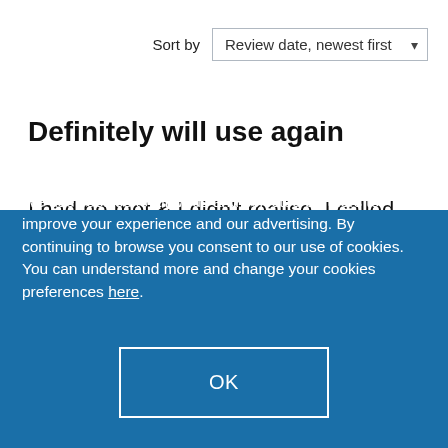Sort by   Review date, newest first
Definitely will use again
I had no mot & I didn't realise. I called them up & they got me in within a couple of hours. I did get a fail for my number plate, but quickly got a
We use cookies to allow us and selected partners to improve your experience and our advertising. By continuing to browse you consent to our use of cookies. You can understand more and change your cookies preferences here.
OK